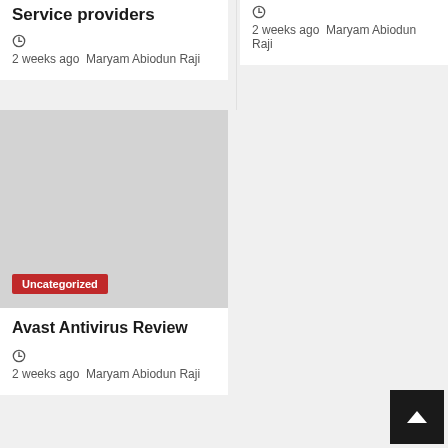Service providers
2 weeks ago  Maryam Abiodun Raji
2 weeks ago  Maryam Abiodun Raji
[Figure (photo): Grey placeholder image with Uncategorized red badge]
Avast Antivirus Review
2 weeks ago  Maryam Abiodun Raji